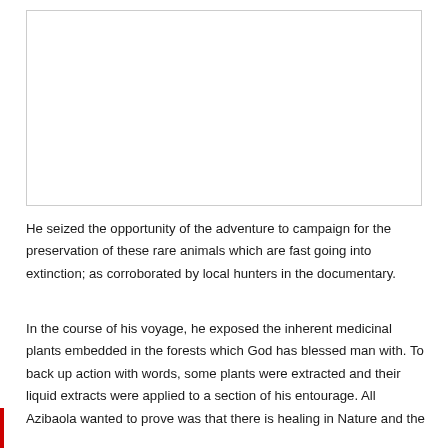[Figure (other): A blank white image placeholder with a thin border, taking up the upper portion of the page.]
He seized the opportunity of the adventure to campaign for the preservation of these rare animals which are fast going into extinction; as corroborated by local hunters in the documentary.
In the course of his voyage, he exposed the inherent medicinal plants embedded in the forests which God has blessed man with. To back up action with words, some plants were extracted and their liquid extracts were applied to a section of his entourage. All Azibaola wanted to prove was that there is healing in Nature and the